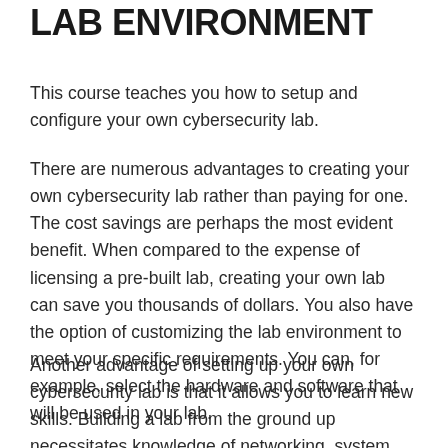LAB ENVIRONMENT
This course teaches you how to setup and configure your own cybersecurity lab.
There are numerous advantages to creating your own cybersecurity lab rather than paying for one. The cost savings are perhaps the most evident benefit. When compared to the expense of licensing a pre-built lab, creating your own lab can save you thousands of dollars. You also have the option of customizing the lab environment to meet your specific requirements. You can, for example, select the hardware and software that will be used in your lab.
Another advantage of setting up your own cybersecurity lab is that it allows you to learn new skills. Building a lab from the ground up necessitates knowledge of networking, system administration, and other technical subjects. This experience is invaluable